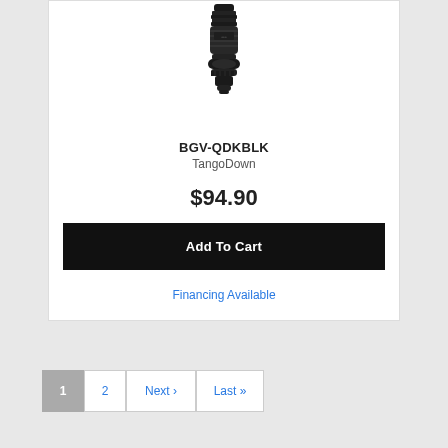[Figure (photo): Product photo of a black tactical grip or rail device (BGV-QDKBLK) by TangoDown, shown vertically against a white background]
BGV-QDKBLK
TangoDown
$94.90
Add To Cart
Financing Available
1 2 Next › Last »